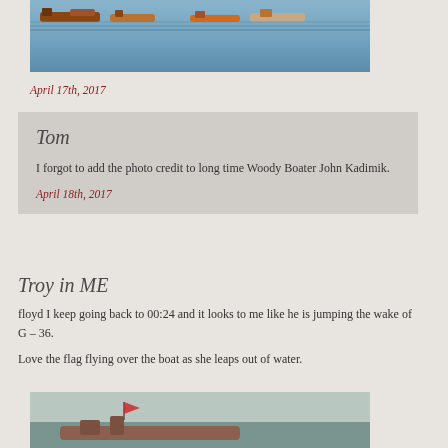[Figure (photo): Partial photo of boats on water, blue water background, multiple wooden boats visible]
April 17th, 2017
Tom
I forgot to add the photo credit to long time Woody Boater John Kadimik.
April 18th, 2017
Troy in ME
floyd I keep going back to 00:24 and it looks to me like he is jumping the wake of G – 36.
Love the flag flying over the boat as she leaps out of water.
[Figure (photo): Partial photo of a boat, grey/green water background, bottom portion visible]